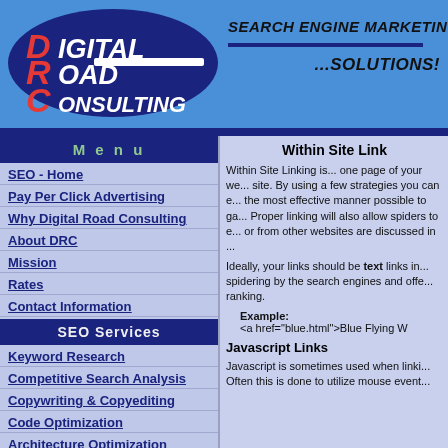[Figure (logo): Digital Road Consulting logo - dark blue oval with DRC letters in red and white, with Search Engine Marketing ...Solutions! tagline]
Menu
SEO - Home
Pay Per Click Advertising
Why Digital Road Consulting
About DRC
Mission
Rates
Contact Information
SEO Services
Keyword Research
Competitive Search Analysis
Copywriting & Copyediting
Code Optimization
Architecture Optimization
Directory Submissions
Within Site Linking
Site Linking Tips Within Site Linking is... one page of your website to another page of your site. By using a few strategies you can ensure your links are structured in the most effective manner possible to gain the best SEO results. Proper linking will also allow spiders to easily crawl your site. Links to or from other websites are discussed in a separate section.
Ideally, your links should be text links in order to facilitate spidering by the search engines and offer the best chance at top ranking.
Example:
<a href="blue.html">Blue Flying W
Javascript Links
Javascript is sometimes used when linking pages together. Often this is done to utilize mouse events